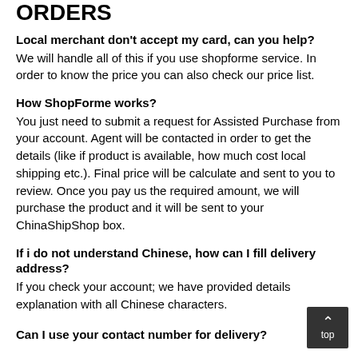ORDERS
Local merchant don't accept my card, can you help?
We will handle all of this if you use shopforme service. In order to know the price you can also check our price list.
How ShopForme works?
You just need to submit a request for Assisted Purchase from your account. Agent will be contacted in order to get the details (like if product is available, how much cost local shipping etc.). Final price will be calculate and sent to you to review. Once you pay us the required amount, we will purchase the product and it will be sent to your ChinaShipShop box.
If i do not understand Chinese, how can I fill delivery address?
If you check your account; we have provided details explanation with all Chinese characters.
Can I use your contact number for delivery?